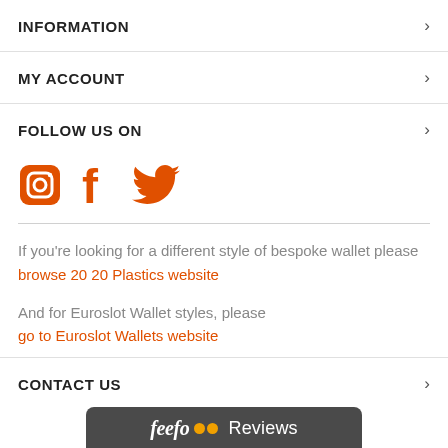INFORMATION
MY ACCOUNT
FOLLOW US ON
[Figure (illustration): Three social media icons in orange: Instagram, Facebook, Twitter]
If you're looking for a different style of bespoke wallet please
browse 20 20 Plastics website
And for Euroslot Wallet styles, please
go to Euroslot Wallets website
CONTACT US
[Figure (logo): Feefo Reviews logo bar in dark grey with yellow dots]